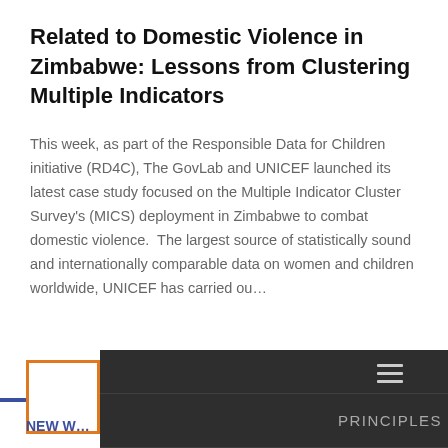Related to Domestic Violence in Zimbabwe: Lessons from Clustering Multiple Indicators
This week, as part of the Responsible Data for Children initiative (RD4C), The GovLab and UNICEF launched its latest case study focused on the Multiple Indicator Cluster Survey's (MICS) deployment in Zimbabwe to combat domestic violence.  The largest source of statistically sound and internationally comparable data on women and children worldwide, UNICEF has carried ou...
[Figure (screenshot): Navigation menu overlay showing hamburger icon and menu items: PRINCIPLES, SELECTED READINGS, CASE STUDIES, BLOG, TOOLS on dark background]
NEW W...